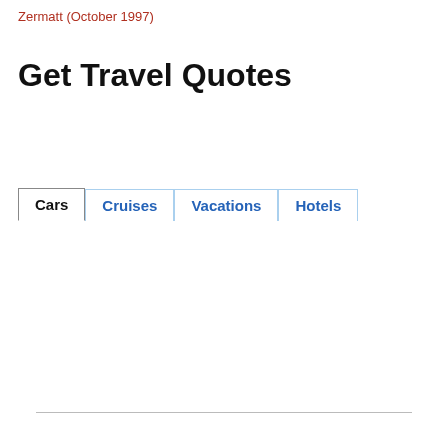Zermatt (October 1997)
Get Travel Quotes
Cars | Cruises | Vacations | Hotels
Pickup City *
Drop-off City *
Pickup Date * | Drop-off Date *